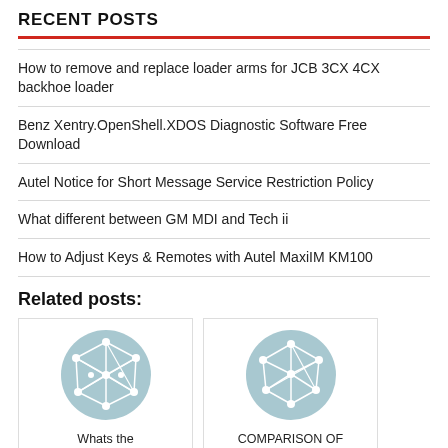RECENT POSTS
How to remove and replace loader arms for JCB 3CX 4CX backhoe loader
Benz Xentry.OpenShell.XDOS Diagnostic Software Free Download
Autel Notice for Short Message Service Restriction Policy
What different between GM MDI and Tech ii
How to Adjust Keys & Remotes with Autel MaxiIM KM100
Related posts:
[Figure (illustration): Circular network/mesh icon on light blue background - thumbnail for related post 'Whats the']
Whats the
[Figure (illustration): Circular network/mesh icon on light blue background - thumbnail for related post 'COMPARISON OF']
COMPARISON OF